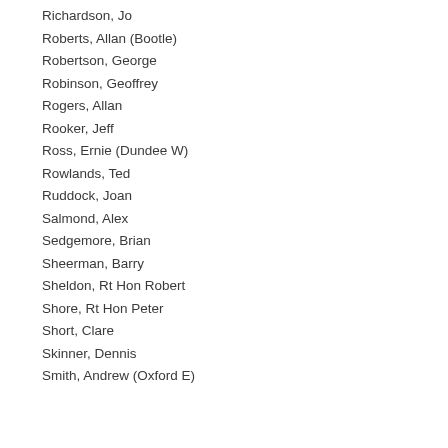Richardson, Jo
Roberts, Allan (Bootle)
Robertson, George
Robinson, Geoffrey
Rogers, Allan
Rooker, Jeff
Ross, Ernie (Dundee W)
Rowlands, Ted
Ruddock, Joan
Salmond, Alex
Sedgemore, Brian
Sheerman, Barry
Sheldon, Rt Hon Robert
Shore, Rt Hon Peter
Short, Clare
Skinner, Dennis
Smith, Andrew (Oxford E)